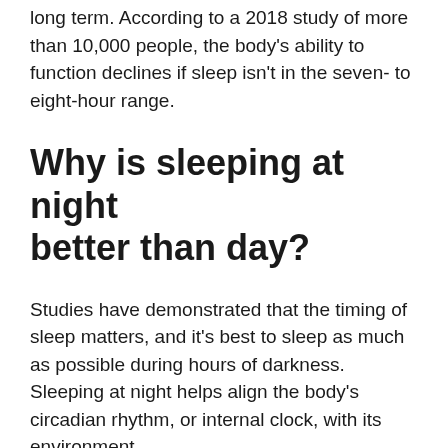long term. According to a 2018 study of more than 10,000 people, the body's ability to function declines if sleep isn't in the seven- to eight-hour range.
Why is sleeping at night better than day?
Studies have demonstrated that the timing of sleep matters, and it's best to sleep as much as possible during hours of darkness. Sleeping at night helps align the body's circadian rhythm, or internal clock, with its environment.
What lack of sleep does to your brain?